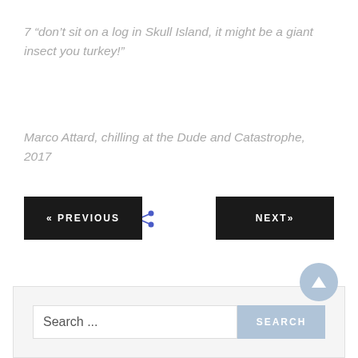7 “don’t sit on a log in Skull Island, it might be a giant insect you turkey!”
Marco Attard, chilling at the Dude and Catastrophe, 2017
Share This Post  :
« PREVIOUS
NEXT»
Search ...